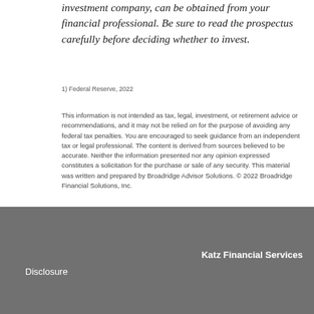investment company, can be obtained from your financial professional. Be sure to read the prospectus carefully before deciding whether to invest.
1) Federal Reserve, 2022
This information is not intended as tax, legal, investment, or retirement advice or recommendations, and it may not be relied on for the purpose of avoiding any federal tax penalties. You are encouraged to seek guidance from an independent tax or legal professional. The content is derived from sources believed to be accurate. Neither the information presented nor any opinion expressed constitutes a solicitation for the purchase or sale of any security. This material was written and prepared by Broadridge Advisor Solutions. © 2022 Broadridge Financial Solutions, Inc.
Katz Financial Services
Disclosure